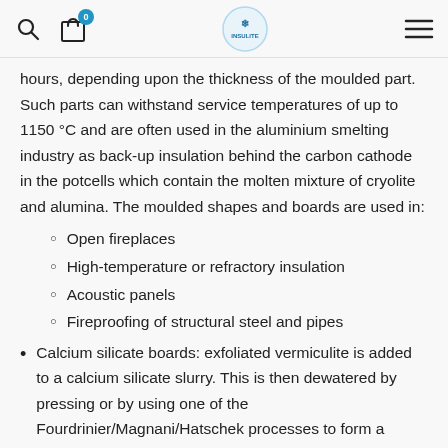[navigation header with search, cart, logo, menu]
hours, depending upon the thickness of the moulded part. Such parts can withstand service temperatures of up to 1150 °C and are often used in the aluminium smelting industry as back-up insulation behind the carbon cathode in the potcells which contain the molten mixture of cryolite and alumina. The moulded shapes and boards are used in:
Open fireplaces
High-temperature or refractory insulation
Acoustic panels
Fireproofing of structural steel and pipes
Calcium silicate boards: exfoliated vermiculite is added to a calcium silicate slurry. This is then dewatered by pressing or by using one of the Fourdrinier/Magnani/Hatschek processes to form a